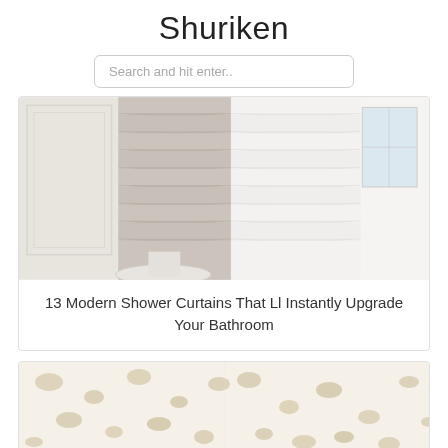Shuriken
Search and hit enter..
[Figure (photo): Two ruffled shower curtains side by side: one in light gray/beige and one in white, displayed in a bright bathroom setting with white paneled walls and a small white table.]
13 Modern Shower Curtains That Ll Instantly Upgrade Your Bathroom
[Figure (photo): Close-up of a semi-transparent shower curtain with a scattered pebble or stone-like pattern in beige and tan tones on a light cream background.]